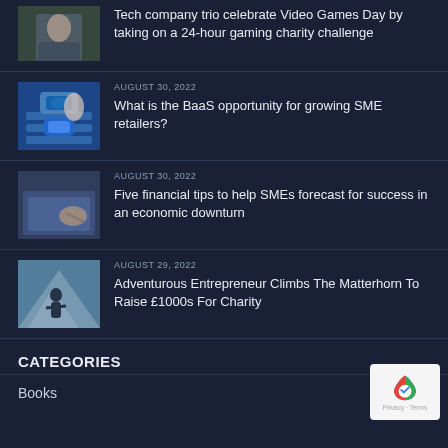[Figure (photo): Person in business attire against green background thumbnail]
Tech company trio celebrate Video Games Day by taking on a 24-hour gaming charity challenge
AUGUST 30, 2022
[Figure (photo): Hand pressing a blue key on a keyboard thumbnail]
What is the BaaS opportunity for growing SME retailers?
AUGUST 30, 2022
[Figure (photo): Hand using a stylus on a tablet thumbnail]
Five financial tips to help SMEs forecast for success in an economic downturn
AUGUST 29, 2022
[Figure (photo): Person climbing mountain outdoors thumbnail]
Adventurous Entrepreneur Climbs The Matterhorn To Raise £1000s For Charity
CATEGORIES
Books